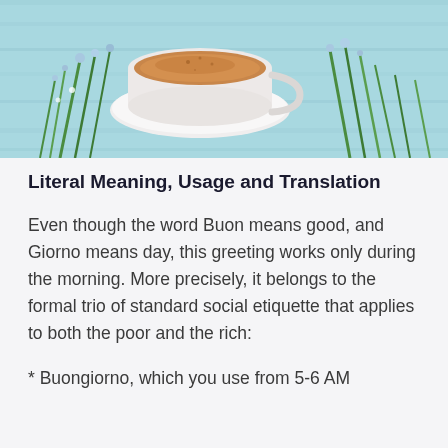[Figure (photo): Top-down photo of a white coffee cup on a saucer with cappuccino, surrounded by green flowers/herbs on a light blue wooden surface background]
Literal Meaning, Usage and Translation
Even though the word Buon means good, and Giorno means day, this greeting works only during the morning. More precisely, it belongs to the formal trio of standard social etiquette that applies to both the poor and the rich:
* Buongiorno, which you use from 5-6 AM